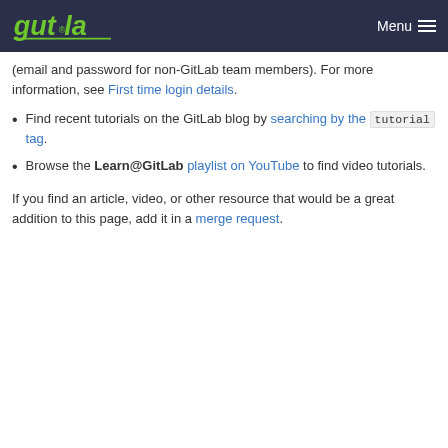gutla | Menu
(email and password for non-GitLab team members). For more information, see First time login details.
Find recent tutorials on the GitLab blog by searching by the tutorial tag.
Browse the Learn@GitLab playlist on YouTube to find video tutorials.
If you find an article, video, or other resource that would be a great addition to this page, add it in a merge request.